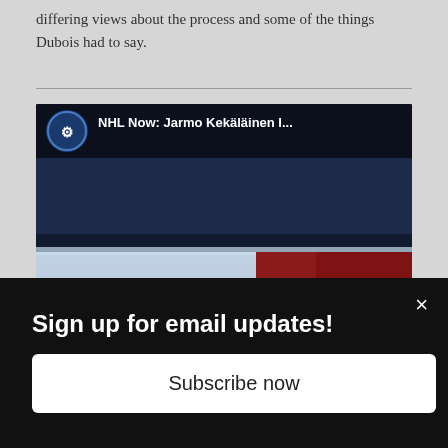differing views about the process and some of the things Dubois had to say.
[Figure (screenshot): Embedded video thumbnail for 'NHL Now: Jarmo Kekäläinen I...' showing Columbus Blue Jackets branding and a man smiling, with a channel logo in the top-left corner and a vertical three-dot menu icon in the top-right.]
Sign up for email updates!
Subscribe now